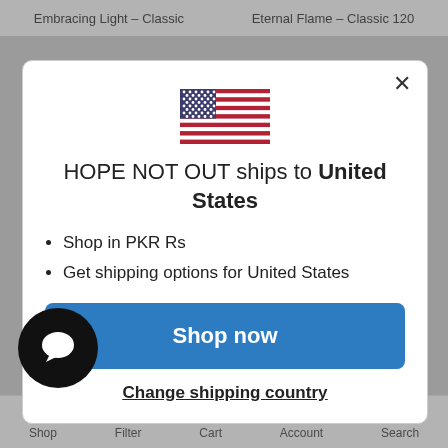Embracing Light - Classic    Eternal Flame - Classic 120
[Figure (illustration): US flag emoji/icon centered in modal dialog]
HOPE NOT OUT ships to United States
Shop in PKR Rs
Get shipping options for United States
Shop now
Change shipping country
Shop   Filter   Cart   Account   Search